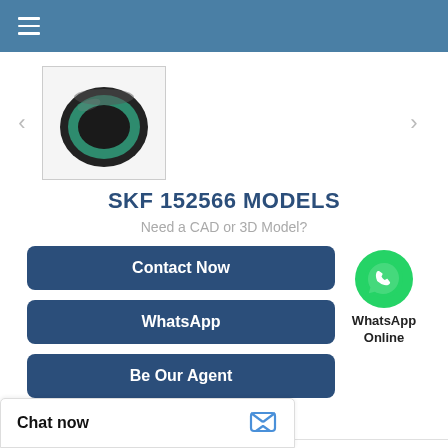≡ (hamburger menu)
[Figure (photo): SKF 152566 cr seal ring product thumbnail — black ring with teal/green inner edge, viewed from front angle]
SKF 152566 MODELS
Need a CAD or 3D Model?
Contact Now
WhatsApp
Be Our Agent
[Figure (logo): WhatsApp green phone icon circle logo with label 'WhatsApp Online']
152566 SKF cr seal
Chat now